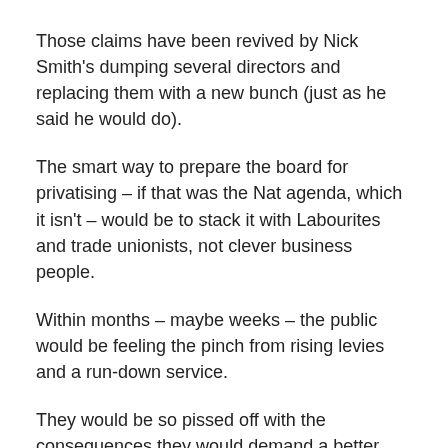Those claims have been revived by Nick Smith's dumping several directors and replacing them with a new bunch (just as he said he would do).
The smart way to prepare the board for privatising – if that was the Nat agenda, which it isn't – would be to stack it with Labourites and trade unionists, not clever business people.
Within months – maybe weeks – the public would be feeling the pinch from rising levies and a run-down service.
They would be so pissed off with the consequences they would demand a better deal.
Continue reading →